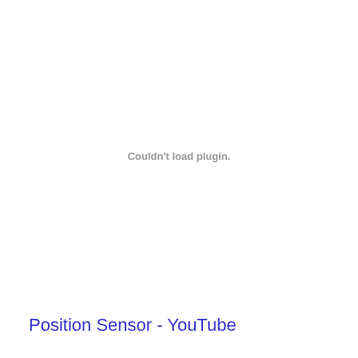[Figure (other): Embedded video plugin area showing 'Couldn't load plugin.' error message in gray text on white background]
Position Sensor - YouTube